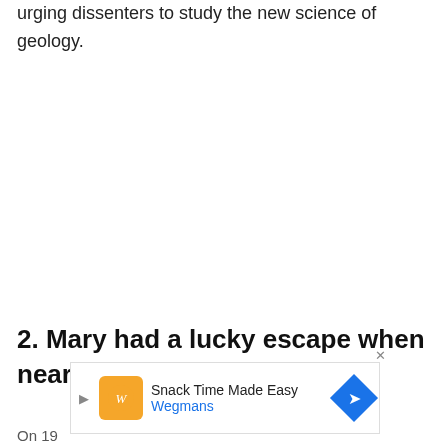urging dissenters to study the new science of geology.
2. Mary had a lucky escape when nearly struck by lightning
On 19
[Figure (infographic): Advertisement banner for Wegmans: Snack Time Made Easy, with orange logo and blue navigation arrow.]